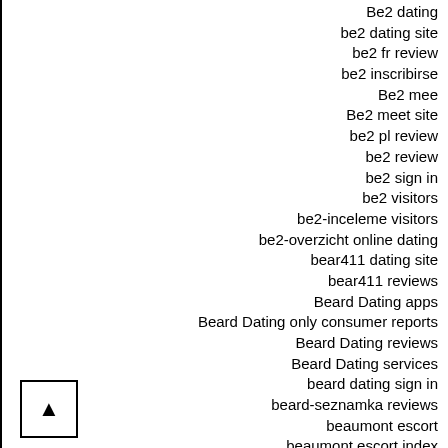Be2 dating
be2 dating site
be2 fr review
be2 inscribirse
Be2 mee
Be2 meet site
be2 pl review
be2 review
be2 sign in
be2 visitors
be2-inceleme visitors
be2-overzicht online dating
bear411 dating site
bear411 reviews
Beard Dating apps
Beard Dating only consumer reports
Beard Dating reviews
Beard Dating services
beard dating sign in
beard-seznamka reviews
beaumont escort
beaumont escort index
beaumont escort service
beaumont review
beautifulpeople ?berpr?fung
BeautifulPeople acceso
BeautifulPeople Einloggen